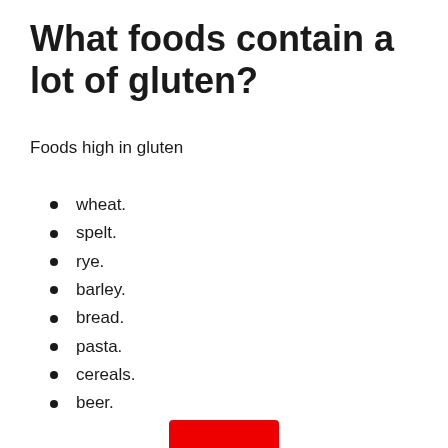What foods contain a lot of gluten?
Foods high in gluten
wheat.
spelt.
rye.
barley.
bread.
pasta.
cereals.
beer.
[Figure (other): Red button or bar at the bottom of the page]